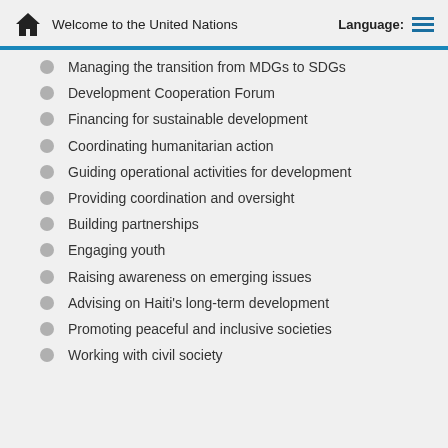Welcome to the United Nations
Managing the transition from MDGs to SDGs
Development Cooperation Forum
Financing for sustainable development
Coordinating humanitarian action
Guiding operational activities for development
Providing coordination and oversight
Building partnerships
Engaging youth
Raising awareness on emerging issues
Advising on Haiti's long-term development
Promoting peaceful and inclusive societies
Working with civil society